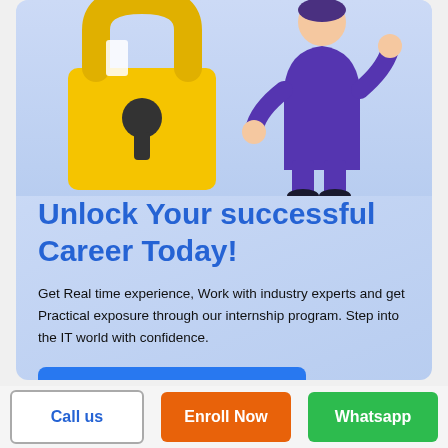[Figure (illustration): Illustration of a large yellow padlock and a person in purple/blue business attire standing next to it on a light blue gradient background]
Unlock Your successful Career Today!
Get Real time experience, Work with industry experts and get Practical exposure through our internship program. Step into the IT world with confidence.
Sign up for Free
Call us
Enroll Now
Whatsapp